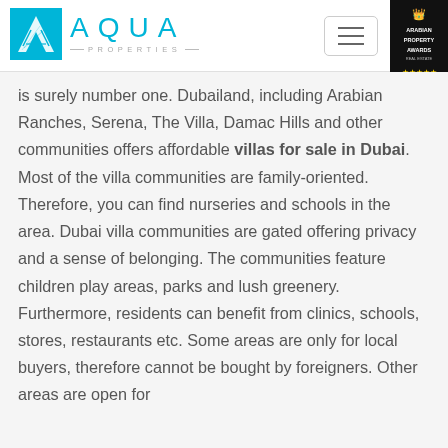[Figure (logo): Aqua Properties logo with cyan square icon containing letter A, cyan AQUA text, and PROPERTIES subtitle with decorative lines]
is surely number one. Dubailand, including Arabian Ranches, Serena, The Villa, Damac Hills and other communities offers affordable villas for sale in Dubai. Most of the villa communities are family-oriented. Therefore, you can find nurseries and schools in the area. Dubai villa communities are gated offering privacy and a sense of belonging. The communities feature children play areas, parks and lush greenery. Furthermore, residents can benefit from clinics, schools, stores, restaurants etc. Some areas are only for local buyers, therefore cannot be bought by foreigners. Other areas are open for purchase